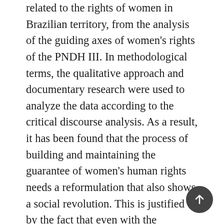related to the rights of women in Brazilian territory, from the analysis of the guiding axes of women's rights of the PNDH III. In methodological terms, the qualitative approach and documentary research were used to analyze the data according to the critical discourse analysis. As a result, it has been found that the process of building and maintaining the guarantee of women's human rights needs a reformulation that also shows a social revolution. This is justified by the fact that even with the provision in the PNDH III that, in order to guarantee the rights of women, it is necessary, for example, to adapt the Penal Code to the decriminalization of abortion and the professionalization of prostitution, these points are still very controversial and are not put into practice by the State. Finally, the importance of the critique of politics and the current system of production of understandings in favor of this social transformation is